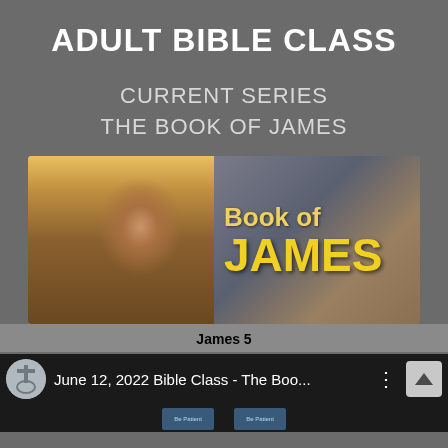ADULT BIBLE CLASS
CURRENT SERIES
THE BOOK OF JAMES
[Figure (illustration): Painting of an elderly bearded man in yellow and brown robes with 'Book of JAMES' text overlay on right side]
James 5
[Figure (screenshot): Video player bar showing church logo, title 'June 12, 2022 Bible Class - The Boo...' with menu dots and up-arrow button, with blue slide thumbnails visible below]